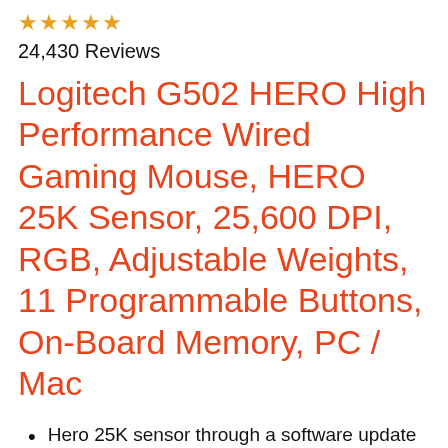[Figure (other): Five star rating icons in golden/orange color, partially visible at top]
24,430 Reviews
Logitech G502 HERO High Performance Wired Gaming Mouse, HERO 25K Sensor, 25,600 DPI, RGB, Adjustable Weights, 11 Programmable Buttons, On-Board Memory, PC / Mac
Hero 25K sensor through a software update from G HUB, this upgrade is free to all players: Our